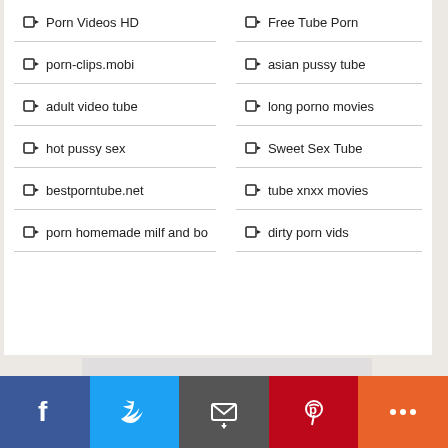Porn Videos HD
Free Tube Porn
porn-clips.mobi
asian pussy tube
adult video tube
long porno movies
hot pussy sex
Sweet Sex Tube
bestporntube.net
tube xnxx movies
porn homemade milf and bo
dirty porn vids
[Figure (other): Advertisement placeholder gray box]
[Figure (infographic): Social share bar with Facebook, Twitter, Email, Pinterest, More buttons]